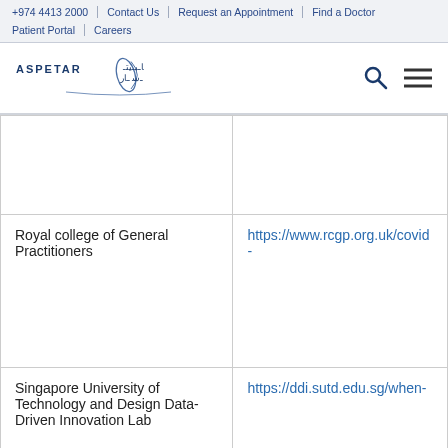+974 4413 2000 | Contact Us | Request an Appointment | Find a Doctor | Patient Portal | Careers
[Figure (logo): Aspetar logo with Arabic text and stylized wing graphic, search icon and hamburger menu icon]
|  |  |
| Royal college of General Practitioners | https://www.rcgp.org.uk/covid-... |
| Singapore University of Technology and Design Data-Driven Innovation Lab | https://ddi.sutd.edu.sg/when-... |